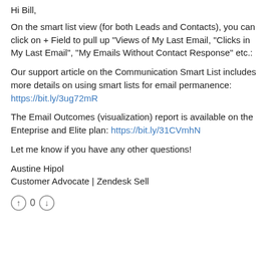Hi Bill,
On the smart list view (for both Leads and Contacts), you can click on + Field to pull up "Views of My Last Email, "Clicks in My Last Email", "My Emails Without Contact Response" etc.:
Our support article on the Communication Smart List includes more details on using smart lists for email permanence: https://bit.ly/3ug72mR
The Email Outcomes (visualization) report is available on the Enteprise and Elite plan: https://bit.ly/31CVmhN
Let me know if you have any other questions!
Austine Hipol
Customer Advocate | Zendesk Sell
[Figure (other): Thumbs up and thumbs down voting icons with a 0 count between them]